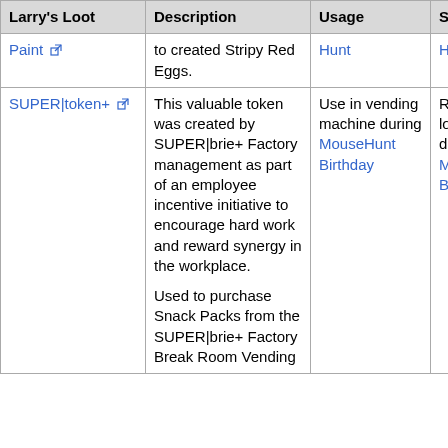| Larry's Loot | Description | Usage | Source | Imag |
| --- | --- | --- | --- | --- |
| Paint [ext] | to created Stripy Red Eggs. | Hunt | Hunt |  |
| SUPER|token+ [ext] | This valuable token was created by SUPER|brie+ Factory management as part of an employee incentive initiative to encourage hard work and reward synergy in the workplace.

Used to purchase Snack Packs from the SUPER|brie+ Factory Break Room Vending | Use in vending machine during MouseHunt Birthday | Reward from loot crate during MouseHunt Birthday | Imag |